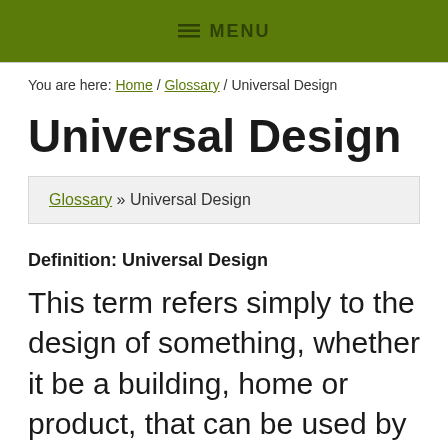≡ MENU
You are here: Home / Glossary / Universal Design
Universal Design
Glossary » Universal Design
Definition: Universal Design
This term refers simply to the design of something, whether it be a building, home or product, that can be used by anyone, regardless